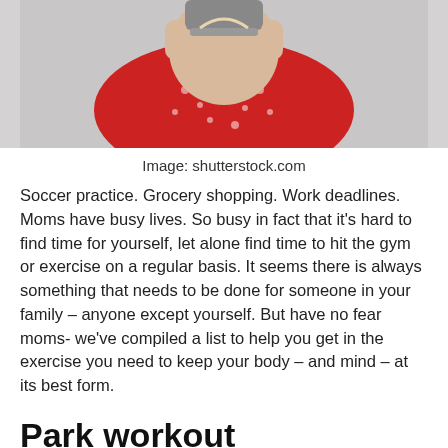[Figure (photo): Partial photo of a person in a red floral outfit, cropped to show torso area against a light gray background]
Image: shutterstock.com
Soccer practice. Grocery shopping. Work deadlines. Moms have busy lives. So busy in fact that it's hard to find time for yourself, let alone find time to hit the gym or exercise on a regular basis. It seems there is always something that needs to be done for someone in your family – anyone except yourself. But have no fear moms- we've compiled a list to help you get in the exercise you need to keep your body – and mind – at its best form.
Park workout